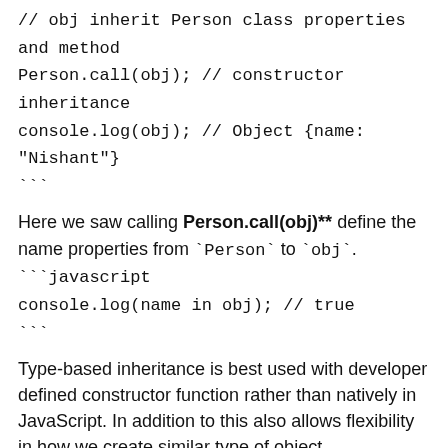// obj inherit Person class properties and method
Person.call(obj); // constructor inheritance
console.log(obj); // Object {name: "Nishant"}
```
Here we saw calling **Person.call(obj)** define the name properties from `Person` to `obj`.
```javascript
console.log(name in obj); // true
```
Type-based inheritance is best used with developer defined constructor function rather than natively in JavaScript. In addition to this also allows flexibility in how we create similar type of object.
Question 40. How we can prevent modification of object in JavaScript ?.
Answer
ECMAScript 5 introduce several methods to prevent modification of object which lock down object to ensure that no one, accidentally or otherwise,